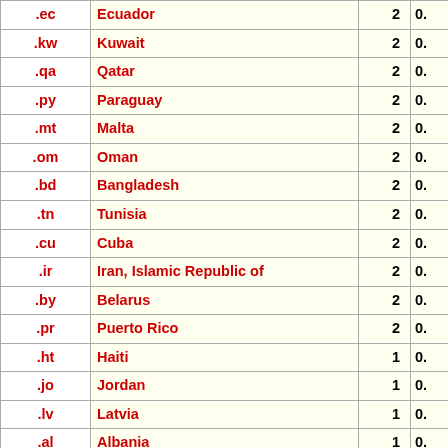| TLD | Country | Count | % |
| --- | --- | --- | --- |
| .ec | Ecuador | 2 | 0. |
| .kw | Kuwait | 2 | 0. |
| .qa | Qatar | 2 | 0. |
| .py | Paraguay | 2 | 0. |
| .mt | Malta | 2 | 0. |
| .om | Oman | 2 | 0. |
| .bd | Bangladesh | 2 | 0. |
| .tn | Tunisia | 2 | 0. |
| .cu | Cuba | 2 | 0. |
| .ir | Iran, Islamic Republic of | 2 | 0. |
| .by | Belarus | 2 | 0. |
| .pr | Puerto Rico | 2 | 0. |
| .ht | Haiti | 1 | 0. |
| .jo | Jordan | 1 | 0. |
| .lv | Latvia | 1 | 0. |
| .al | Albania | 1 | 0. |
| .ba | Bosnia and Herzegovina | 1 | 0. |
| .hu | Hungary | 1 | 0. |
| .cy | Cyprus | 1 | 0. |
| .so | Somalia | 1 | 0. |